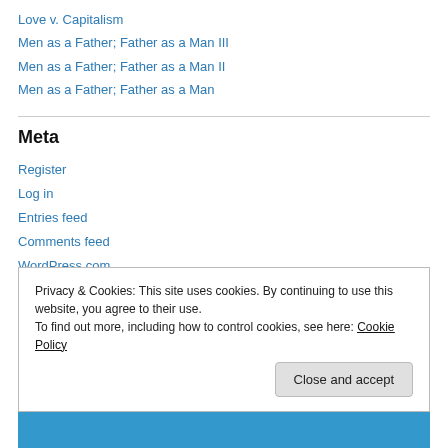Love v. Capitalism
Men as a Father; Father as a Man III
Men as a Father; Father as a Man II
Men as a Father; Father as a Man
Meta
Register
Log in
Entries feed
Comments feed
WordPress.com
Privacy & Cookies: This site uses cookies. By continuing to use this website, you agree to their use. To find out more, including how to control cookies, see here: Cookie Policy